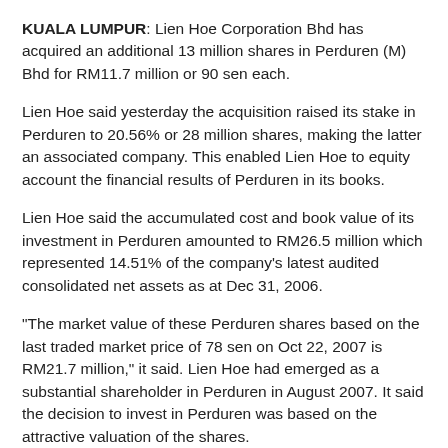KUALA LUMPUR: Lien Hoe Corporation Bhd has acquired an additional 13 million shares in Perduren (M) Bhd for RM11.7 million or 90 sen each.
Lien Hoe said yesterday the acquisition raised its stake in Perduren to 20.56% or 28 million shares, making the latter an associated company. This enabled Lien Hoe to equity account the financial results of Perduren in its books.
Lien Hoe said the accumulated cost and book value of its investment in Perduren amounted to RM26.5 million which represented 14.51% of the company’s latest audited consolidated net assets as at Dec 31, 2006.
“The market value of these Perduren shares based on the last traded market price of 78 sen on Oct 22, 2007 is RM21.7 million,” it said. Lien Hoe had emerged as a substantial shareholder in Perduren in August 2007. It said the decision to invest in Perduren was based on the attractive valuation of the shares.
It added Perduren was expected to see further earnings growth from its intended venture into property development